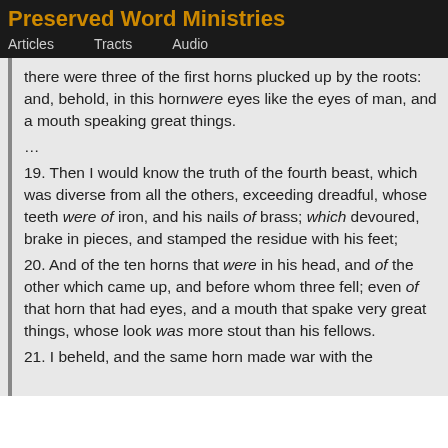Preserved Word Ministries
Articles   Tracts   Audio
there were three of the first horns plucked up by the roots: and, behold, in this horn were eyes like the eyes of man, and a mouth speaking great things.
...
19. Then I would know the truth of the fourth beast, which was diverse from all the others, exceeding dreadful, whose teeth were of iron, and his nails of brass; which devoured, brake in pieces, and stamped the residue with his feet;
20. And of the ten horns that were in his head, and of the other which came up, and before whom three fell; even of that horn that had eyes, and a mouth that spake very great things, whose look was more stout than his fellows.
21. I beheld, and the same horn made war with the